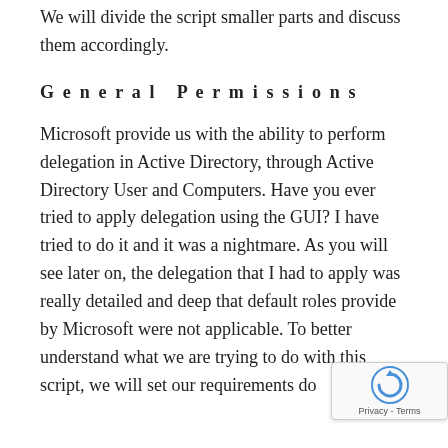We will divide the script smaller parts and discuss them accordingly.
General Permissions
Microsoft provide us with the ability to perform delegation in Active Directory, through Active Directory User and Computers. Have you ever tried to apply delegation using the GUI? I have tried to do it and it was a nightmare. As you will see later on, the delegation that I had to apply was really detailed and deep that default roles provide by Microsoft were not applicable. To better understand what we are trying to do with this script, we will set our requirements do... First of all we will create our groups based...